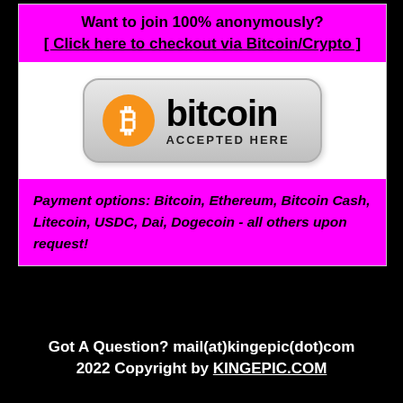Want to join 100% anonymously?
[ Click here to checkout via Bitcoin/Crypto ]
[Figure (logo): Bitcoin Accepted Here badge with orange Bitcoin logo and gradient rounded rectangle]
Payment options: Bitcoin, Ethereum, Bitcoin Cash, Litecoin, USDC, Dai, Dogecoin - all others upon request!
Got A Question? mail(at)kingepic(dot)com
2022 Copyright by KINGEPIC.COM